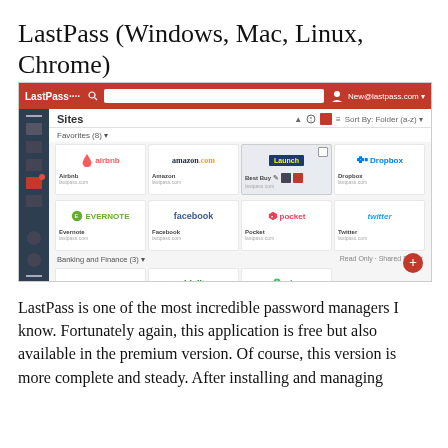LastPass (Windows, Mac, Linux, Chrome)
[Figure (screenshot): Screenshot of the LastPass password manager interface showing a grid of saved sites including Airbnb, Amazon, Best Buy, Dropbox, Evernote, Facebook, Pocket, Twitter in the Favorites section, and Bank of America, Fidelity, Mint in a Banking and Finance section. The interface has a red top navigation bar, dark left sidebar, and tile-based site view.]
LastPass is one of the most incredible password managers I know. Fortunately again, this application is free but also available in the premium version. Of course, this version is more complete and steady. After installing and managing